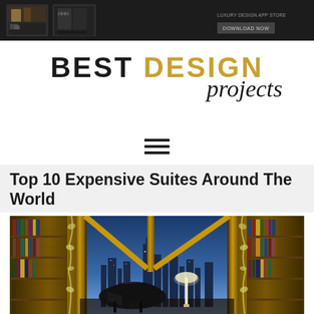[Figure (screenshot): Dark ad banner at the top with small thumbnail images on the left and a 'DOWNLOAD NOW' button on the right]
[Figure (logo): Best Design Projects logo: 'BEST' in black bold, 'DESIGN' in gold bold, 'projects' in cursive script below]
[Figure (other): Hamburger menu icon with three horizontal lines]
Top 10 Expensive Suites Around The World
[Figure (photo): Luxury hotel suite interior with grand piano, floor-to-ceiling gold-framed windows overlooking a city skyline at dusk, bookshelves with floral vine decorations on either side]